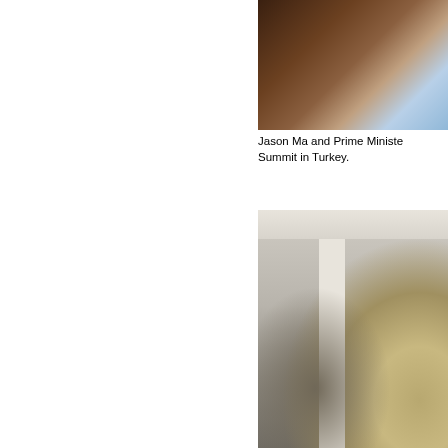[Figure (photo): Close-up photo of two people, one in a dark jacket and one partially visible, taken at a summit event in Turkey. Image is cropped showing upper torso and partial face area.]
Jason Ma and Prime Minister at G20 Summit in Turkey.
[Figure (photo): Indoor photo at what appears to be a hotel or conference venue lobby. A man in a floral Hawaiian-style shirt is in the foreground on the right. Behind him is a white column and a crowd of people in business casual attire mingling in the background.]